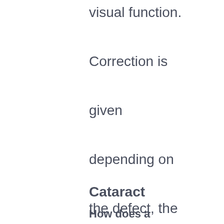visual function. Correction is given depending on the defect, the age of the person, the conditions of operation performed in terms of work.
Cataract
How does a